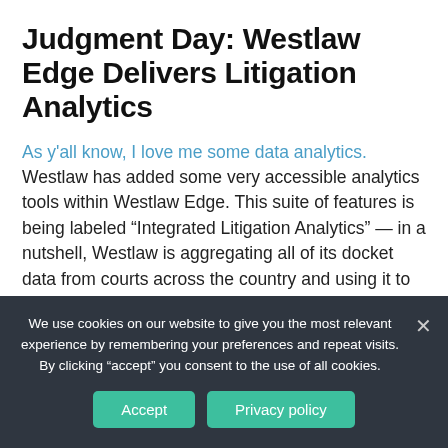Judgment Day: Westlaw Edge Delivers Litigation Analytics
As y'all know, I love me some data analytics. Westlaw has added some very accessible analytics tools within Westlaw Edge. This suite of features is being labeled “Integrated Litigation Analytics” — in a nutshell, Westlaw is aggregating all of its docket data from courts across the country and using it to define historic results.
We use cookies on our website to give you the most relevant experience by remembering your preferences and repeat visits. By clicking “accept” you consent to the use of all cookies.